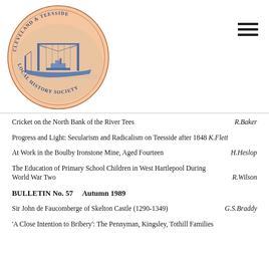[Figure (logo): Cleveland & Teesside Local History Society circular logo with an oval pink/peach background showing a blue transporter bridge and ship, text around the border reading 'CLEVELAND & TEESSIDE LOCAL HISTORY SOCIETY']
Cricket on the North Bank of the River Tees    R.Baker
Progress and Light: Secularism and Radicalism on Teesside after 1848    K.Flett
At Work in the Boulby Ironstone Mine, Aged Fourteen    H.Heslop
The Education of Primary School Children in West Hartlepool During World War Two    R.Wilson
BULLETIN  No. 57     Autumn  1989
Sir John de Faucomberge of Skelton Castle (1290-1349)    G.S.Braddy
'A Close Intention to Bribery':  The Pennyman,  Kingsley, Tothill Families